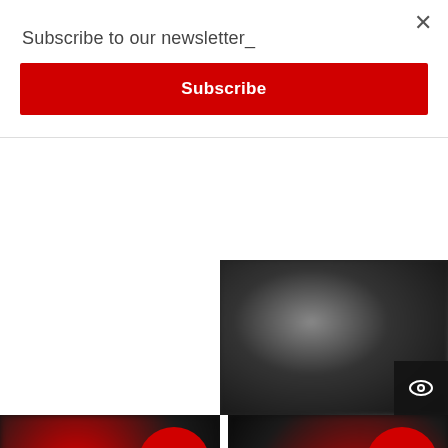Subscribe to our newsletter_
Subscribe
[Figure (photo): Partial dark product image (jacket/apparel) with eye icon in bottom right corner, top right area of page]
[Figure (photo): Dark jacket/apparel product photo with red accent, SOLD OUT badge, eye icon in bottom right]
[Figure (photo): Dark jacket/apparel product photo with red accent, SOLD OUT badge, eye icon in bottom right]